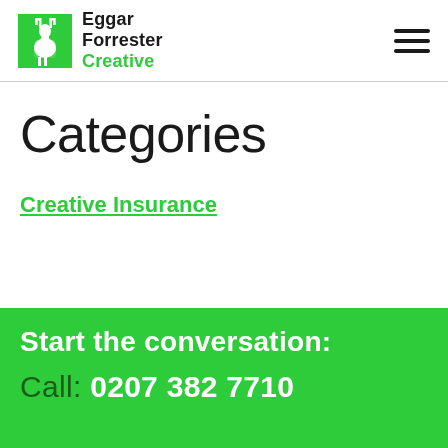[Figure (logo): Eggar Forrester Creative logo — green deer/stag silhouette icon with company name in black and green text]
Categories
Creative Insurance
Start the conversation:
Call: 0207 382 7710